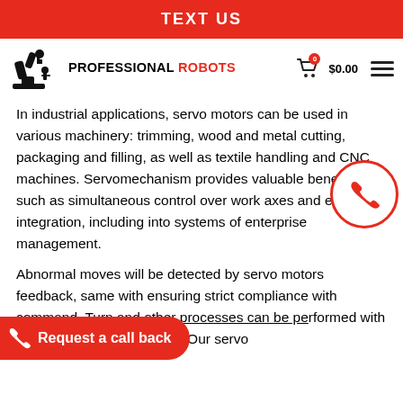TEXT US
[Figure (logo): Professional Robots logo with robotic arm icon and text PROFESSIONAL ROBOTS]
In industrial applications, servo motors can be used in various machinery: trimming, wood and metal cutting, packaging and filling, as well as textile handling and CNC machines. Servomechanism provides valuable benefits, such as simultaneous control over work axes and easy integration, including into systems of enterprise management.
Abnormal moves will be detected by servo motors feedback, same with ensuring strict compliance with command. Turn and other processes can be performed with uniformity and consistency. Our servo